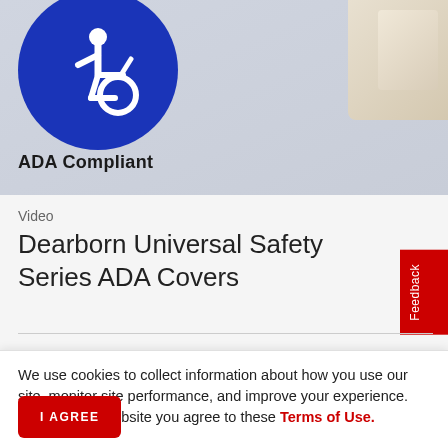[Figure (photo): Blue circular ADA accessibility symbol (wheelchair icon) on a grey background, with text 'ADA Compliant' below it in bold. A partial image of a white object visible on the right side.]
Video
Dearborn Universal Safety Series ADA Covers
We use cookies to collect information about how you use our site, monitor site performance, and improve your experience. By using our website you agree to these Terms of Use.
I AGREE